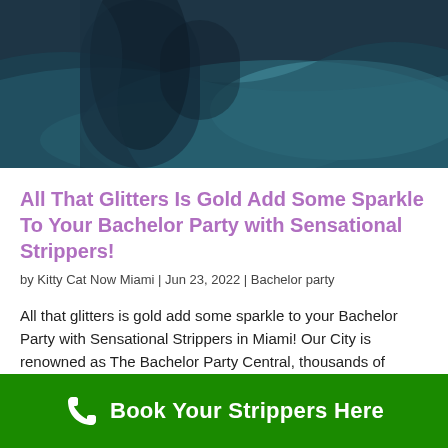[Figure (photo): Close-up photo of a person near a pool/water, dark teal and blue tones]
All That Glitters Is Gold Add Some Sparkle To Your Bachelor Party with Sensational Strippers!
by Kitty Cat Now Miami | Jun 23, 2022 | Bachelor party
All that glitters is gold add some sparkle to your Bachelor Party with Sensational Strippers in Miami! Our City is renowned as The Bachelor Party Central, thousands of Bachelor Parties stream into our beautiful cities each year. Bright-eyed and eager to take on all…
Book Your Strippers Here